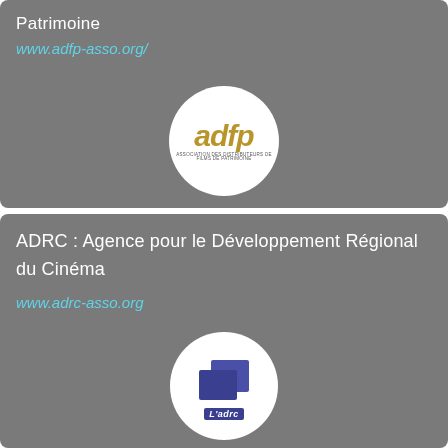Patrimoine
www.adfp-asso.org/
[Figure (logo): ADFP logo — stylized gold italic text 'adfp' with small subtitle text below, inside a white circle]
ADRC : Agence pour le Développement Régional du Cinéma
www.adrc-asso.org
[Figure (logo): L'adrc logo — two overlapping blue squares/rectangles with 'L'adrc' text label, inside a white circle]